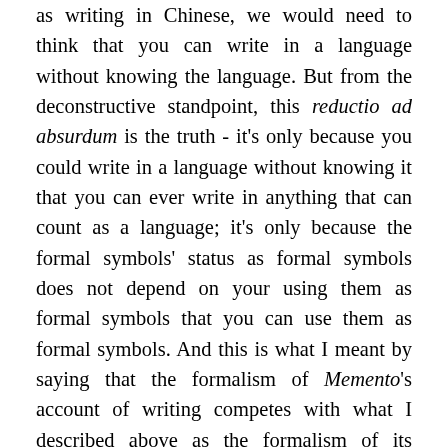as writing in Chinese, we would need to think that you can write in a language without knowing the language. But from the deconstructive standpoint, this reductio ad absurdum is the truth - it's only because you could write in a language without knowing it that you can ever write in anything that can count as a language; it's only because the formal symbols' status as formal symbols does not depend on your using them as formal symbols that you can use them as formal symbols. And this is what I meant by saying that the formalism of Memento's account of writing competes with what I described above as the formalism of its deployment of the surprise ending. The meaning of the surprise